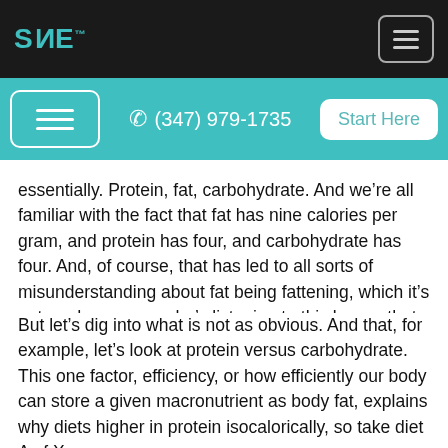SANE | (347) 979-1735 | Start Here
essentially. Protein, fat, carbohydrate. And we’re all familiar with the fact that fat has nine calories per gram, and protein has four, and carbohydrate has four. And, of course, that has led to all sorts of misunderstanding about fat being fattening, which it’s not, and everyone who’s listening to this knows that.
But let’s dig into what is not as obvious. And that, for example, let’s look at protein versus carbohydrate. This one factor, efficiency, or how efficiently our body can store a given macronutrient as body fat, explains why diets higher in protein isocalorically, so take diet A of X